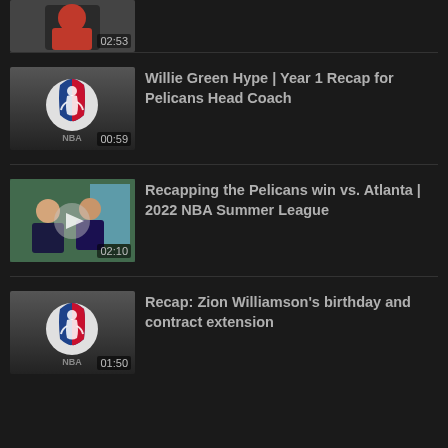[Figure (screenshot): Partial video thumbnail at top of page (cropped), duration 02:53]
Willie Green Hype | Year 1 Recap for Pelicans Head Coach
[Figure (screenshot): Video thumbnail showing NBA logo on grey background, duration 00:59]
Recapping the Pelicans win vs. Atlanta | 2022 NBA Summer League
[Figure (screenshot): Video thumbnail showing two people sitting, with play button overlay, duration 02:10]
Recap: Zion Williamson's birthday and contract extension
[Figure (screenshot): Video thumbnail showing NBA logo on grey background, duration 01:50]